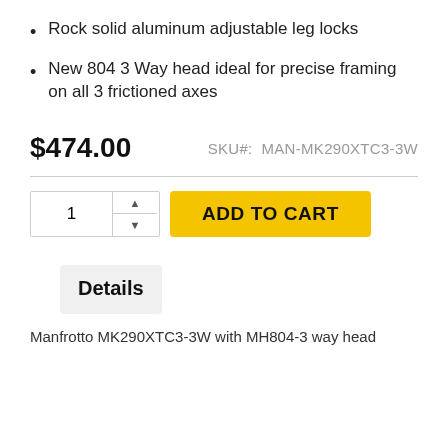Rock solid aluminum adjustable leg locks
New 804 3 Way head ideal for precise framing on all 3 frictioned axes
$474.00   SKU#:  MAN-MK290XTC3-3W
1  ADD TO CART
Details
Manfrotto MK290XTC3-3W with MH804-3 way head